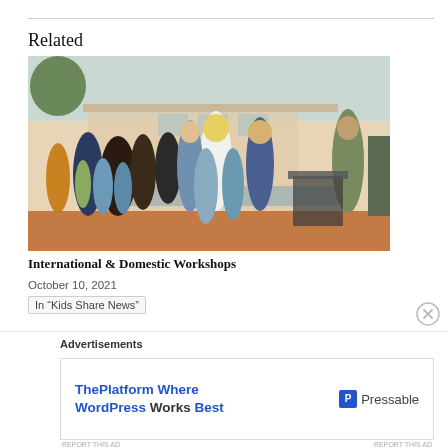Related
[Figure (photo): Group photo of women and children in an African school courtyard, with a blonde woman and another woman with sunglasses interacting with children in blue school uniforms, buildings visible in background]
International & Domestic Workshops
October 10, 2021
In “Kids Share News”
Advertisements
[Figure (screenshot): Advertisement banner for Pressable: 'ThePlatform Where WordPress Works Best' with Pressable logo on right]